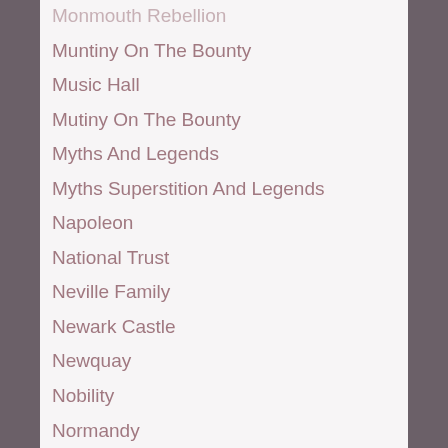Monmouth Rebellion
Muntiny On The Bounty
Music Hall
Mutiny On The Bounty
Myths And Legends
Myths Superstition And Legends
Napoleon
National Trust
Neville Family
Newark Castle
Newquay
Nobility
Normandy
Norman Lords
Norse Mythology
Northumberland
November
Occupations
October
Of Cornwall